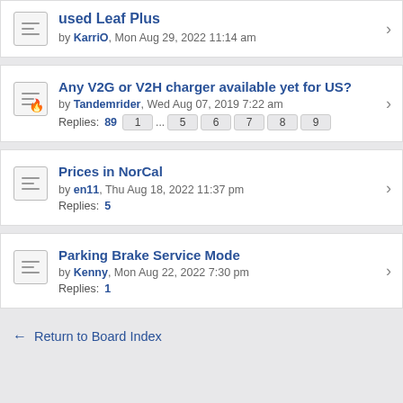used Leaf Plus by KarriO, Mon Aug 29, 2022 11:14 am
Any V2G or V2H charger available yet for US? by Tandemrider, Wed Aug 07, 2019 7:22 am Replies: 89, pages: 1 ... 5 6 7 8 9
Prices in NorCal by en11, Thu Aug 18, 2022 11:37 pm Replies: 5
Parking Brake Service Mode by Kenny, Mon Aug 22, 2022 7:30 pm Replies: 1
Return to Board Index